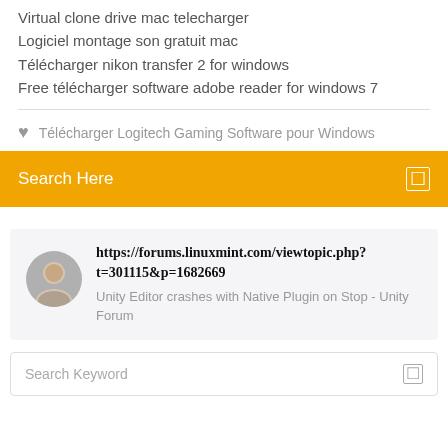Virtual clone drive mac telecharger
Logiciel montage son gratuit mac
Télécharger nikon transfer 2 for windows
Free télécharger software adobe reader for windows 7
Télécharger Logitech Gaming Software pour Windows
Search Here
https://forums.linuxmint.com/viewtopic.php?t=301115&p=1682669
Unity Editor crashes with Native Plugin on Stop - Unity Forum
Search Keyword